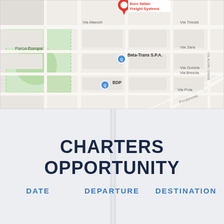[Figure (map): Google Maps screenshot showing the area around Euro Italian Freight Systems location in Italy. Landmarks include Parco Europa (green area), Beta-Trans S.P.A., and BDP. Streets shown include Via Maestri, Via Trieste, Via Zara, Via Brescia, Via Gorizia, Via Pola, Via Achille Grandi, and Pordenone road.]
CHARTERS OPPORTUNITY
DATE   DEPARTURE   DESTINATION